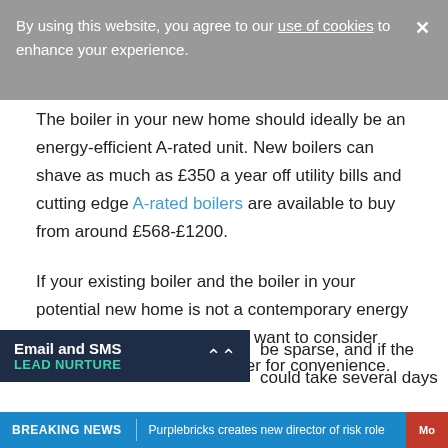By using this website, you agree to our use of cookies to enhance your experience.
The boiler in your new home should ideally be an energy-efficient A-rated unit. New boilers can shave as much as £350 a year off utility bills and cutting edge A-rated boilers are available to buy from around £568-£1200.
If your existing boiler and the boiler in your potential new home is not a contemporary energy efficient boiler, you may also want to consider installing a replacement boiler for convenience.
be sparse, and if the could take several days
Email and SMS LEAD NURTURE
BREAKING NEWS | Purplebricks creates new director of risk role